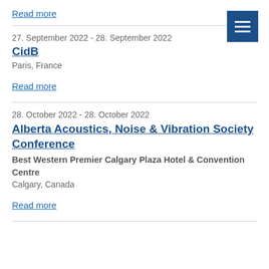Read more
27. September 2022 - 28. September 2022
CidB
Paris, France
Read more
28. October 2022 - 28. October 2022
Alberta Acoustics, Noise & Vibration Society Conference
Best Western Premier Calgary Plaza Hotel & Convention Centre
Calgary, Canada
Read more